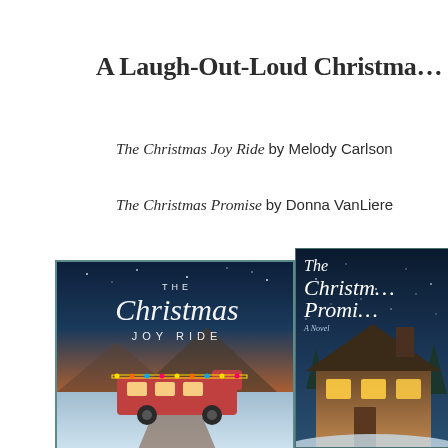A Laugh-Out-Loud Christma…
The Christmas Joy Ride by Melody Carlson
The Christmas Promise by Donna VanLiere
[Figure (photo): Book cover of 'The Christmas Joy Ride' showing an RV decorated with Christmas lights driving through a snowy desert landscape at sunset]
[Figure (photo): Book cover of 'The Christmas Promise' showing a snow-covered Tudor-style house at night with warm glowing windows]